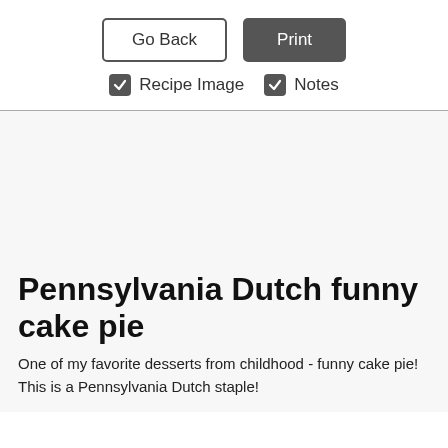[Figure (screenshot): Go Back button (outlined) and Print button (dark filled) side by side]
[Figure (screenshot): Two checked checkboxes labeled 'Recipe Image' and 'Notes']
Pennsylvania Dutch funny cake pie
One of my favorite desserts from childhood - funny cake pie! This is a Pennsylvania Dutch staple!